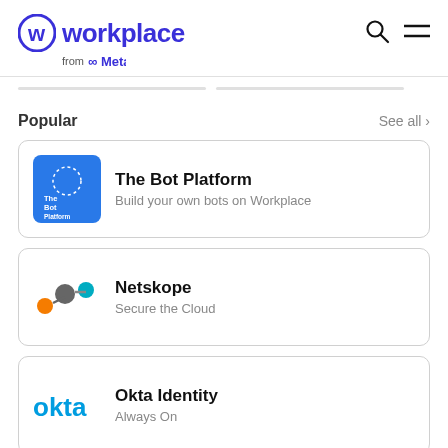workplace from Meta
Popular  See all >
[Figure (logo): The Bot Platform blue square logo with white text and dotted circle]
The Bot Platform
Build your own bots on Workplace
[Figure (logo): Netskope logo - orange and gray dots connected]
Netskope
Secure the Cloud
[Figure (logo): Okta blue text logo]
Okta Identity
Always On